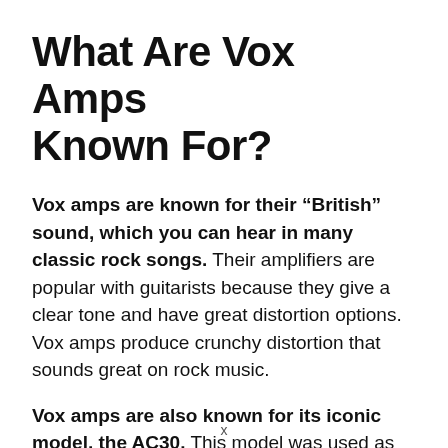What Are Vox Amps Known For?
Vox amps are known for their “British” sound, which you can hear in many classic rock songs. Their amplifiers are popular with guitarists because they give a clear tone and have great distortion options. Vox amps produce crunchy distortion that sounds great on rock music.
Vox amps are also known for its iconic model, the AC30. This model was used as
x